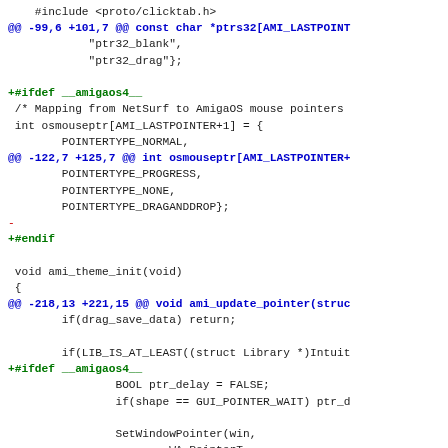Source code diff showing changes to AmigaOS pointer handling code including #include, #ifdef __amigaos4__, osmouseptr array, ami_theme_init, ami_update_pointer functions